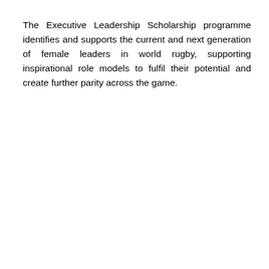The Executive Leadership Scholarship programme identifies and supports the current and next generation of female leaders in world rugby, supporting inspirational role models to fulfil their potential and create further parity across the game.